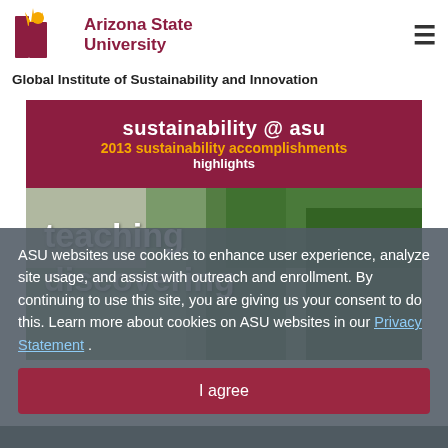ASU Arizona State University
Global Institute of Sustainability and Innovation
[Figure (screenshot): ASU sustainability website banner showing 'sustainability @ asu' header in maroon, '2013 sustainability accomplishments highlights' in gold and white text, and a photo background with text 'teaching discovering' in white]
ASU websites use cookies to enhance user experience, analyze site usage, and assist with outreach and enrollment. By continuing to use this site, you are giving us your consent to do this. Learn more about cookies on ASU websites in our Privacy Statement .
I agree